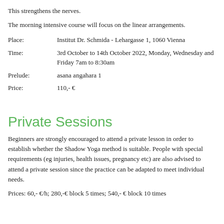This strengthens the nerves.
The morning intensive course will focus on the linear arrangements.
| Place: | Institut Dr. Schmida - Lehargasse 1, 1060 Vienna |
| Time: | 3rd October to 14th October 2022, Monday, Wednesday and Friday 7am to 8:30am |
| Prelude: | asana angahara 1 |
| Price: | 110,- € |
Private Sessions
Beginners are strongly encouraged to attend a private lesson in order to establish whether the Shadow Yoga method is suitable. People with special requirements (eg injuries, health issues, pregnancy etc) are also advised to attend a private session since the practice can be adapted to meet individual needs.
Prices: 60,- €/h; 280,-€ block 5 times; 540,- € block 10 times